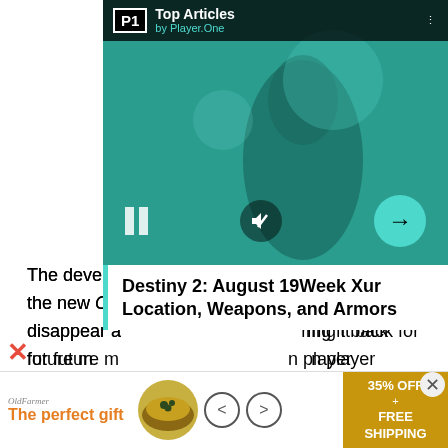[Figure (screenshot): Top Articles widget by Player.One overlaying a game screenshot (Destiny 2), showing pause, mute, and next-article controls, with article title 'Destiny 2: August 19Week Xur Location, Weapons, and Armors']
The develo...ur, where the new Cr... will disappear a... ring it back for future m... n player response.
Starter Pack
This update also brings a new armored car called Accomplice, which has turret cannon ZS-33 Hulk and turret DT Python attached to it. It comes with the "Cleaner" Starter pack that can be purchased for 650 in-game coins, available starting on May
[Figure (screenshot): Advertisement banner: 'The perfect gift' with food dish image, navigation arrows, and '35% OFF + FREE SHIPPING' gold promo box]